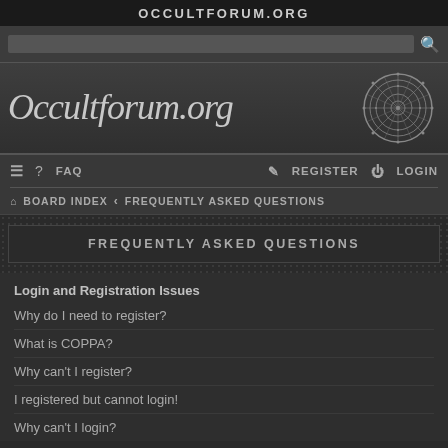OCCULTFORUM.ORG
[Figure (screenshot): Search bar with red search icon]
[Figure (logo): OccultForum.org cursive logo with occult mandala circle symbol]
≡  ? FAQ   REGISTER  ⏻ LOGIN
⌂ BOARD INDEX ‹ FREQUENTLY ASKED QUESTIONS
FREQUENTLY ASKED QUESTIONS
Login and Registration Issues
Why do I need to register?
What is COPPA?
Why can't I register?
I registered but cannot login!
Why can't I login?